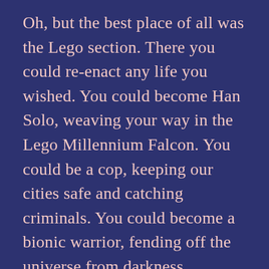Oh, but the best place of all was the Lego section. There you could re-enact any life you wished. You could become Han Solo, weaving your way in the Lego Millennium Falcon. You could be a cop, keeping our cities safe and catching criminals. You could become a bionic warrior, fending off the universe from darkness.
There is one memory, I remember most clearly; I was in the Lego section and held in my hands a box of Lego that rumbled when you shook it. It was a set to build a pirate ship, a ship to sail the Seven Seas! I